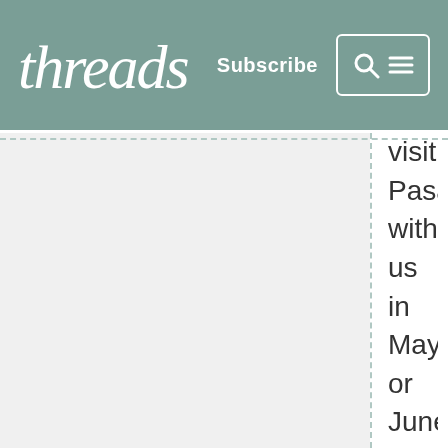threads  Subscribe
visiting Pasadena with us in May or June? If I'm not mistaken, there were a lot of jacarandas in bloom at the time...long rows of trees with slightly purplish blue blossoms, flanking the streets...I'm pretty sure that's what those trees are, but I might have the timing confused--maybe I was there with someone else at another time